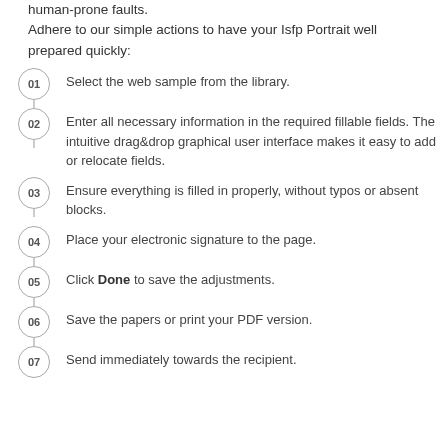human-prone faults.
Adhere to our simple actions to have your Isfp Portrait well prepared quickly:
01 Select the web sample from the library.
02 Enter all necessary information in the required fillable fields. The intuitive drag&drop graphical user interface makes it easy to add or relocate fields.
03 Ensure everything is filled in properly, without typos or absent blocks.
04 Place your electronic signature to the page.
05 Click Done to save the adjustments.
06 Save the papers or print your PDF version.
07 Send immediately towards the recipient.